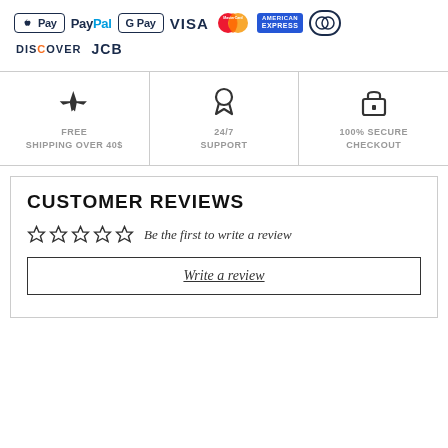[Figure (other): Payment method logos: Apple Pay, PayPal, Google Pay, VISA, MasterCard, American Express, Diners Club, DISCOVER, JCB]
[Figure (infographic): Three service columns with icons: airplane icon - FREE SHIPPING OVER 40$, ribbon icon - 24/7 SUPPORT, padlock icon - 100% SECURE CHECKOUT]
CUSTOMER REVIEWS
☆☆☆☆☆  Be the first to write a review
Write a review